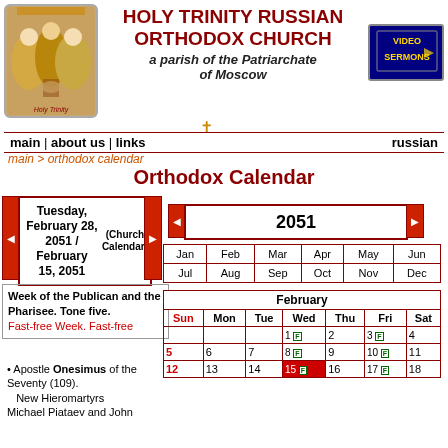HOLY TRINITY RUSSIAN ORTHODOX CHURCH
a parish of the Patriarchate of Moscow
[Figure (illustration): Religious icon depicting the Holy Trinity — three angelic figures seated around a table, Byzantine style painting]
[Figure (other): Video Sermons badge/button in navy blue with gold text]
✝
main | about us | links  russian
main > orthodox calendar
Orthodox Calendar
Tuesday, February 28, 2051 / February 15, 2051 (Church Calendar)
2051
Week of the Publican and the Pharisee. Tone five. Fast-free Week. Fast-free
Apostle Onesimus of the Seventy (109). New Hieromartyrs Michael Piataev and John
| Jan | Feb | Mar | Apr | May | Jun | Jul | Aug | Sep | Oct | Nov | Dec |
| --- | --- | --- | --- | --- | --- | --- | --- | --- | --- | --- | --- |
| Sun | Mon | Tue | Wed | Thu | Fri | Sat |
| --- | --- | --- | --- | --- | --- | --- |
|  |  |  | 1 F | 2 | 3 F | 4 |
| 5 | 6 | 7 | 8 F | 9 | 10 F | 11 |
| 12 | 13 | 14 | 15 F | 16 | 17 F | 18 |